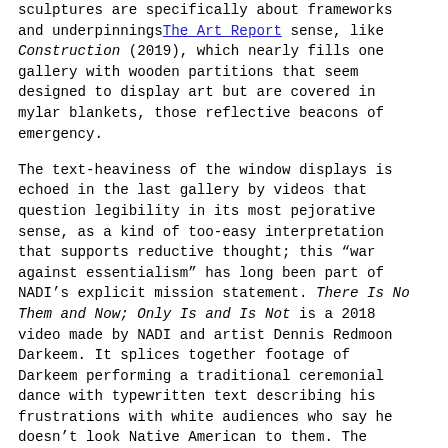The Art Report
sculptures are specifically about frameworks and underpinnings in a literal sense, like Construction (2019), which nearly fills one gallery with wooden partitions that seem designed to display art but are covered in mylar blankets, those reflective beacons of emergency.
The text-heaviness of the window displays is echoed in the last gallery by videos that question legibility in its most pejorative sense, as a kind of too-easy interpretation that supports reductive thought; this "war against essentialism" has long been part of NADI's explicit mission statement. There Is No Them and Now; Only Is and Is Not is a 2018 video made by NADI and artist Dennis Redmoon Darkeem. It splices together footage of Darkeem performing a traditional ceremonial dance with typewritten text describing his frustrations with white audiences who say he doesn't look Native American to them. The impossibility of seeing the artist is reflected formally in the cinematography: Darkeem's movements are filmed in close-up shots, so that the viewer can only see parts of him, never his whole figure at once. The structural positioning of the viewer suggests